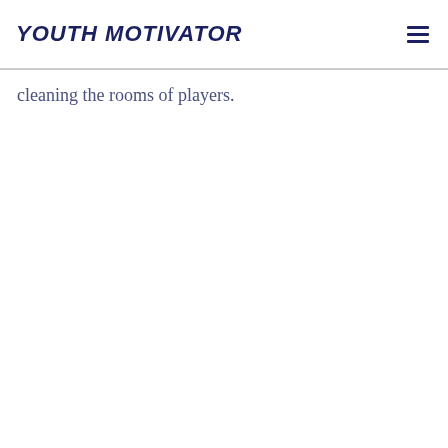YOUTH MOTIVATOR
cleaning the rooms of players.